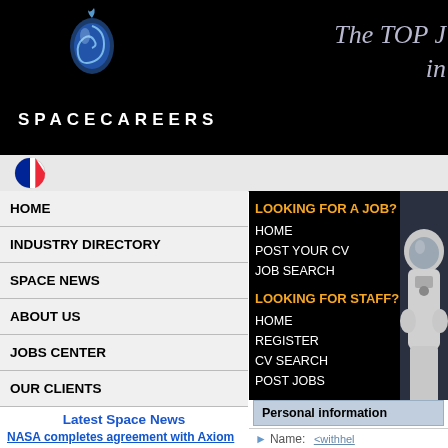[Figure (logo): SpaceCareers logo with stylized spiral droplet icon and text SPACECAREERS on dark background, with tagline 'The TOP J... in' in italic on right]
[Figure (illustration): French flag icon (circular) in the language bar]
HOME
INDUSTRY DIRECTORY
SPACE NEWS
ABOUT US
JOBS CENTER
OUR CLIENTS
LOOKING FOR A JOB?
HOME
POST YOUR CV
JOB SEARCH
LOOKING FOR STAFF?
HOME
REGISTER
CV SEARCH
POST JOBS
[Figure (photo): Astronaut in spacesuit visible through window]
Latest Space News
NASA completes agreement with Axiom Space for second private astronaut mission
Sat, 03 Sep 2022 00:20:25 +0000
NASA has completed an agreement for a second private astronaut mission to the International Space Station with Axiom Space, the only company that bid on the opportunity. The post NASA completes agreement with Axiom Space for second private astronaut mission appeared first on SpaceNews.
Countdown begins for second Artemis 1 launch attempt
Fri, 02 Sep 2022 08:01:53 +0000
NASA has restarted the countdown for
CV: Intern at the von Kar
Printer Friendly
Personal information
Name: <withhel